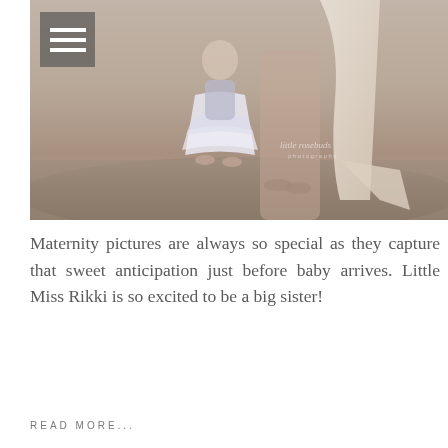[Figure (photo): Black and white maternity photography portrait showing a pregnant woman in a long flowing cream dress with a young girl in a white tutu dress hugging her mother's legs, standing on a fluffy rug with a draped fabric backdrop. Watermark reads 'little rosebuds photography'.]
Maternity pictures are always so special as they capture that sweet anticipation just before baby arrives. Little Miss Rikki is so excited to be a big sister!
READ MORE...